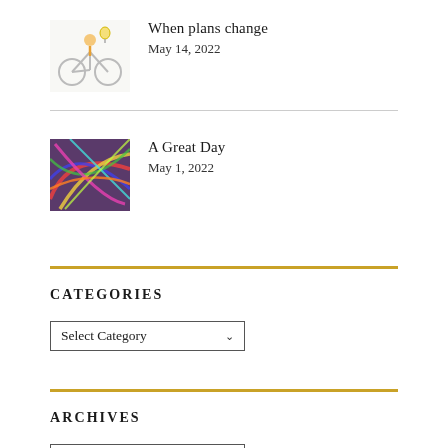[Figure (illustration): Small illustration of a person on a bicycle with a light bulb above, on a white background]
When plans change
May 14, 2022
[Figure (photo): Colorful abstract photo with bright multi-colored ribbons or strings]
A Great Day
May 1, 2022
CATEGORIES
Select Category
ARCHIVES
Select Month